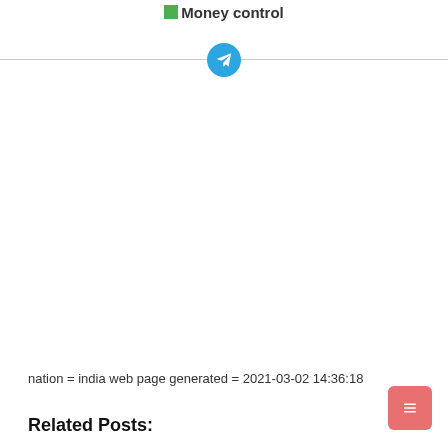Money control
[Figure (other): Telegram share button icon centered on a horizontal divider line]
nation = india web page generated = 2021-03-02 14:36:18
Related Posts: